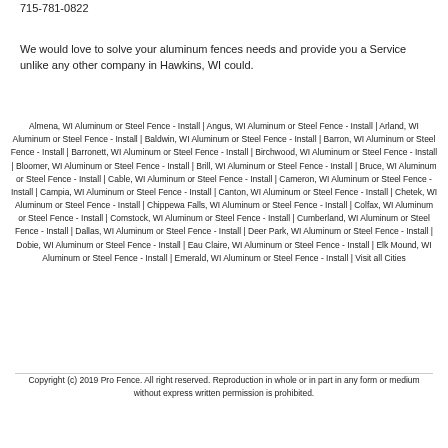715-781-0822
We would love to solve your aluminum fences needs and provide you a Service unlike any other company in Hawkins, WI could.
Almena, WI Aluminum or Steel Fence - Install | Angus, WI Aluminum or Steel Fence - Install | Arland, WI Aluminum or Steel Fence - Install | Baldwin, WI Aluminum or Steel Fence - Install | Barron, WI Aluminum or Steel Fence - Install | Barronett, WI Aluminum or Steel Fence - Install | Birchwood, WI Aluminum or Steel Fence - Install | Bloomer, WI Aluminum or Steel Fence - Install | Brill, WI Aluminum or Steel Fence - Install | Bruce, WI Aluminum or Steel Fence - Install | Cable, WI Aluminum or Steel Fence - Install | Cameron, WI Aluminum or Steel Fence - Install | Campia, WI Aluminum or Steel Fence - Install | Canton, WI Aluminum or Steel Fence - Install | Chetek, WI Aluminum or Steel Fence - Install | Chippewa Falls, WI Aluminum or Steel Fence - Install | Colfax, WI Aluminum or Steel Fence - Install | Comstock, WI Aluminum or Steel Fence - Install | Cumberland, WI Aluminum or Steel Fence - Install | Dallas, WI Aluminum or Steel Fence - Install | Deer Park, WI Aluminum or Steel Fence - Install | Dobie, WI Aluminum or Steel Fence - Install | Eau Claire, WI Aluminum or Steel Fence - Install | Elk Mound, WI Aluminum or Steel Fence - Install | Emerald, WI Aluminum or Steel Fence - Install | Visit all Cities
Copyright (c) 2019 Pro Fence. All right reserved. Reproduction in whole or in part in any form or medium without express written permission is prohibited.